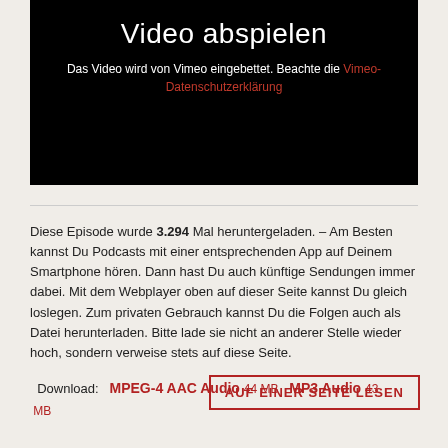[Figure (screenshot): Black video player area with 'Video abspielen' title and Vimeo privacy notice text with red link]
Diese Episode wurde 3.294 Mal heruntergeladen. – Am Besten kannst Du Podcasts mit einer entsprechenden App auf Deinem Smartphone hören. Dann hast Du auch künftige Sendungen immer dabei. Mit dem Webplayer oben auf dieser Seite kannst Du gleich loslegen. Zum privaten Gebrauch kannst Du die Folgen auch als Datei herunterladen. Bitte lade sie nicht an anderer Stelle wieder hoch, sondern verweise stets auf diese Seite.
Download: MPEG-4 AAC Audio 44 MB   MP3 Audio 43 MB
AUF EINER SEITE LESEN